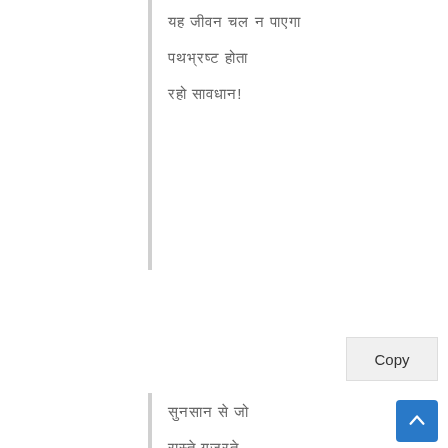यह जीवन चल न पाएगा
पथभ्रष्ट होता
रहो सावधान!
सुनसान से जो
रास्ते गुजरते,
पथ पथरे, घर
आंगन,
चोरों डाकू, रात
कारस्तानी
आने लगे..
मत करो विश्वास
मत घबराओ!